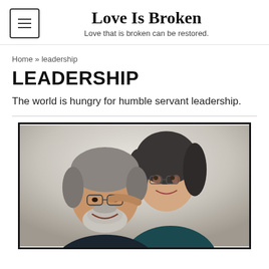Love Is Broken — Love that is broken can be restored.
Home » leadership
LEADERSHIP
The world is hungry for humble servant leadership.
[Figure (photo): Portrait photo of a couple smiling. A man with gray hair, beard, and glasses in a dark shirt on the left, and a woman with dark gray hair and glasses in a teal/dark blue top on the right leaning on his shoulder. White/light background.]